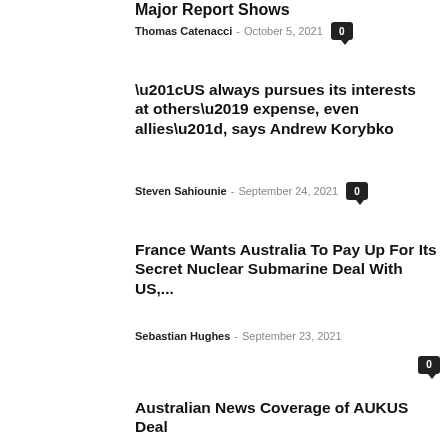Major Report Shows
Thomas Catenacci - October 5, 2021 0
“US always pursues its interests at others’ expense, even allies”, says Andrew Korybko
Steven Sahiounie - September 24, 2021 0
France Wants Australia To Pay Up For Its Secret Nuclear Submarine Deal With US,...
Sebastian Hughes - September 23, 2021 0
Australian News Coverage of AUKUS Deal